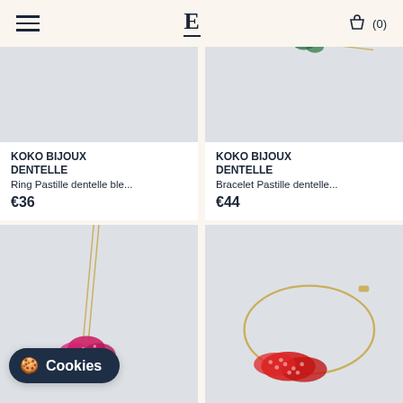E (0)
[Figure (photo): Product image of a lace ring in blue on a light grey background]
KOKO BIJOUX DENTELLE
Ring Pastille dentelle ble...
€36
[Figure (photo): Product image of a lace bracelet in green on a light grey background with gold chain]
KOKO BIJOUX DENTELLE
Bracelet Pastille dentelle...
€44
[Figure (photo): Product image of a pink/fuchsia lace pendant necklace with gold chain]
[Figure (photo): Product image of a red lace bracelet with gold chain]
Cookies